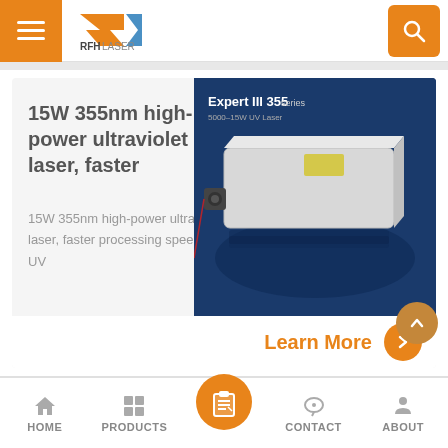[Figure (logo): RFH Laser logo with orange arrow/R mark and blue triangle]
15W 355nm high-power ultraviolet laser, faster
15W 355nm high-power ultraviolet laser, faster processing speed RFH UV
[Figure (photo): Expert III 355 series laser product photo on dark blue background showing a white rectangular laser unit emitting a red beam]
Learn More
HOME   PRODUCTS   CONTACT   ABOUT